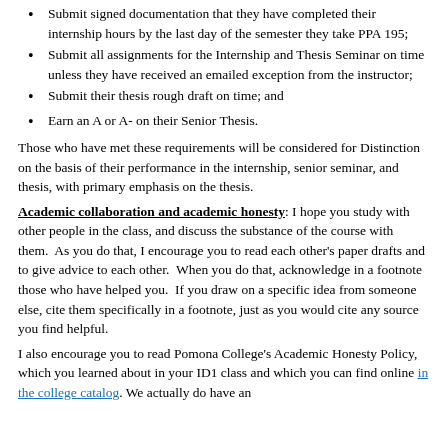Submit signed documentation that they have completed their internship hours by the last day of the semester they take PPA 195;
Submit all assignments for the Internship and Thesis Seminar on time unless they have received an emailed exception from the instructor;
Submit their thesis rough draft on time; and
Earn an A or A- on their Senior Thesis.
Those who have met these requirements will be considered for Distinction on the basis of their performance in the internship, senior seminar, and thesis, with primary emphasis on the thesis.
Academic collaboration and academic honesty: I hope you study with other people in the class, and discuss the substance of the course with them.  As you do that, I encourage you to read each other's paper drafts and to give advice to each other.  When you do that, acknowledge in a footnote those who have helped you.  If you draw on a specific idea from someone else, cite them specifically in a footnote, just as you would cite any source you find helpful.
I also encourage you to read Pomona College's Academic Honesty Policy, which you learned about in your ID1 class and which you can find online in the college catalog. We actually do have an